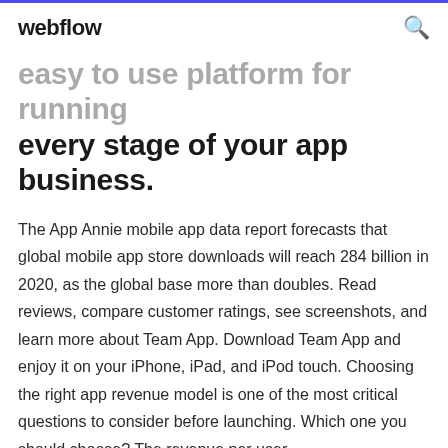webflow
easy to use platform for running every stage of your app business.
The App Annie mobile app data report forecasts that global mobile app store downloads will reach 284 billion in 2020, as the global base more than doubles. Read reviews, compare customer ratings, see screenshots, and learn more about Team App. Download Team App and enjoy it on your iPhone, iPad, and iPod touch. Choosing the right app revenue model is one of the most critical questions to consider before launching. Which one you should choose? The revenue per user